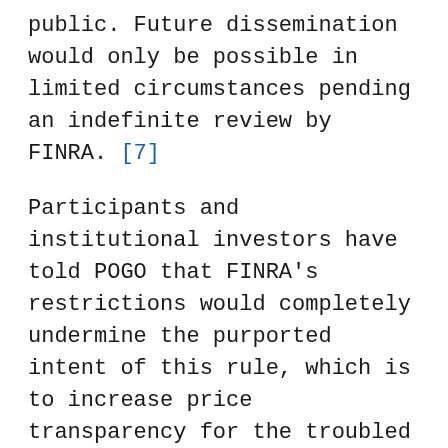public. Future dissemination would only be possible in limited circumstances pending an indefinite review by FINRA. [7]
Participants and institutional investors have told POGO that FINRA's restrictions would completely undermine the purported intent of this rule, which is to increase price transparency for the troubled assets that fueled the financial meltdown. Not surprisingly, these restrictions have been endorsed by the American Securitization Forum (ASF) and the Securities Industry and Financial Markets Association (SIFMA),